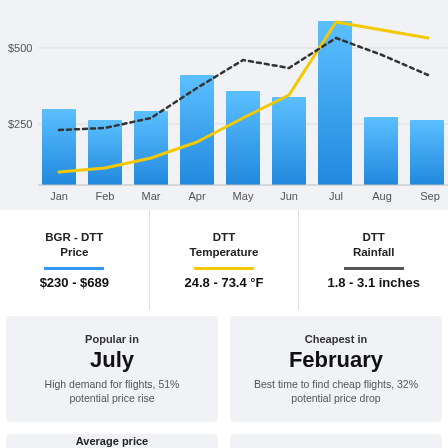[Figure (bar-chart): BGR - DTT Price by Month]
| BGR - DTT Price | DTT Temperature | DTT Rainfall |
| --- | --- | --- |
| $230 - $689 | 24.8 - 73.4 °F | 1.8 - 3.1 inches |
Popular in July
High demand for flights, 51% potential price rise
Cheapest in February
Best time to find cheap flights, 32% potential price drop
Average price